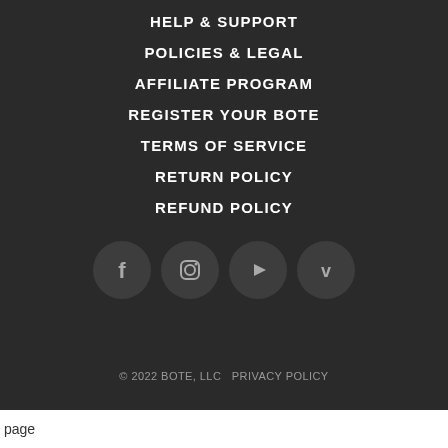HELP & SUPPORT
POLICIES & LEGAL
AFFILIATE PROGRAM
REGISTER YOUR BOTE
TERMS OF SERVICE
RETURN POLICY
REFUND POLICY
[Figure (other): Social media icons: Facebook, Instagram, YouTube, Vimeo]
© 2022 BOTE, LLC  PRIVACY POLICY
page